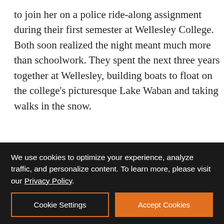to join her on a police ride-along assignment during their first semester at Wellesley College. Both soon realized the night meant much more than schoolwork. They spent the next three years together at Wellesley, building boats to float on the college's picturesque Lake Waban and taking walks in the snow.
[Figure (logo): Exchange Bank advertisement banner with logo on white left panel and 'Community Strong.' text on dark navy right panel. Footer shows Member FDIC, Equal Housing Lender, NMLS ID 643948.]
We use cookies to optimize your experience, analyze traffic, and personalize content. To learn more, please visit our Privacy Policy.
Cookie Settings
Accept Cookies